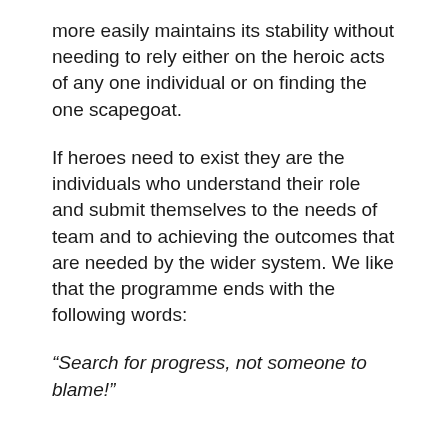more easily maintains its stability without needing to rely either on the heroic acts of any one individual or on finding the one scapegoat.
If heroes need to exist they are the individuals who understand their role and submit themselves to the needs of team and to achieving the outcomes that are needed by the wider system. We like that the programme ends with the following words:
“Search for progress, not someone to blame!”